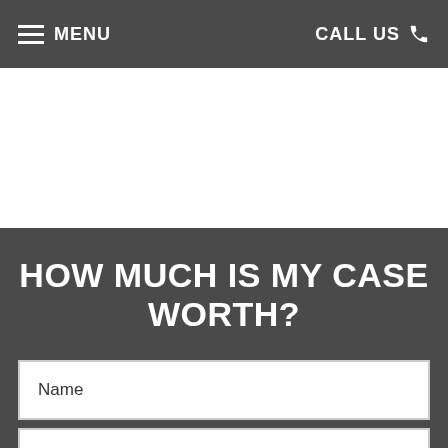MENU  |  CALL US
HOW MUCH IS MY CASE WORTH?
Name
Phone Number
Email Address